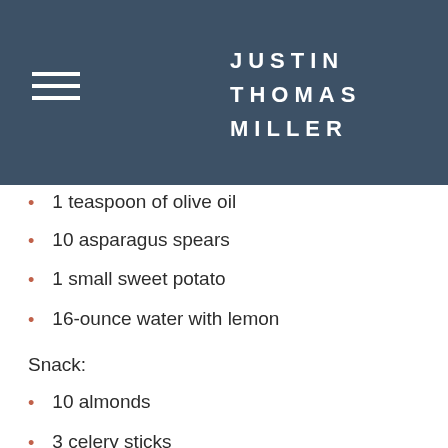JUSTIN THOMAS MILLER
1 teaspoon of olive oil
10 asparagus spears
1 small sweet potato
16-ounce water with lemon
Snack:
10 almonds
3 celery sticks
1/2 cup of cottage cheese
This looks good at first but there's a glaring problem here... And excuse my language, but